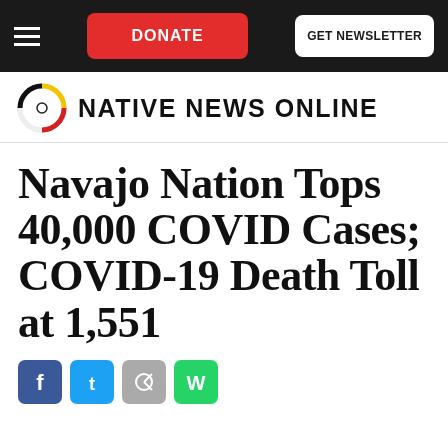DONATE | GET NEWSLETTER
[Figure (logo): Native News Online logo with circular feather/medicine wheel icon and bold text 'NATIVE NEWS ONLINE']
Navajo Nation Tops 40,000 COVID Cases; COVID-19 Death Toll at 1,551
[Figure (other): Social media sharing icons: Facebook (blue), Twitter (light blue), grey share, WhatsApp (green)]